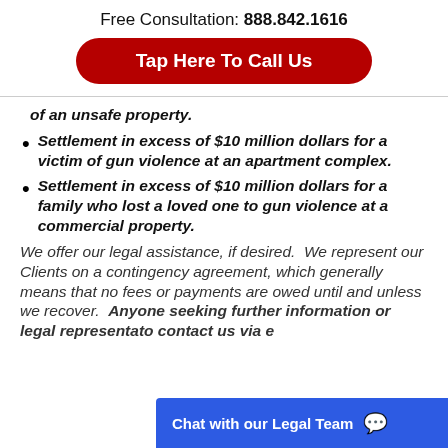Free Consultation: 888.842.1616
Tap Here To Call Us
of an unsafe property.
Settlement in excess of $10 million dollars for a victim of gun violence at an apartment complex.
Settlement in excess of $10 million dollars for a family who lost a loved one to gun violence at a commercial property.
We offer our legal assistance, if desired.  We represent our Clients on a contingency agreement, which generally means that no fees or payments are owed until and unless we recover.  Anyone seeking further information or legal representa... to contact us via e...
Chat with our Legal Team